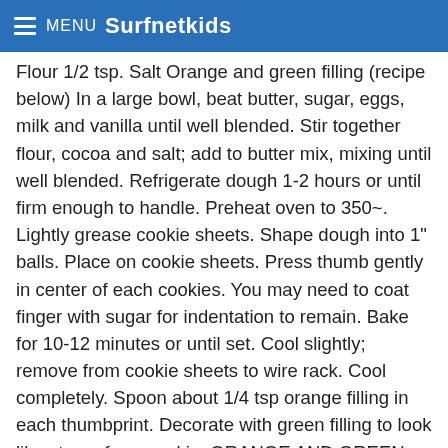≡ MENU Surfnetkids
Flour 1/2 tsp. Salt Orange and green filling (recipe below) In a large bowl, beat butter, sugar, eggs, milk and vanilla until well blended. Stir together flour, cocoa and salt; add to butter mix, mixing until well blended. Refrigerate dough 1-2 hours or until firm enough to handle. Preheat oven to 350~. Lightly grease cookie sheets. Shape dough into 1" balls. Place on cookie sheets. Press thumb gently in center of each cookies. You may need to coat finger with sugar for indentation to remain. Bake for 10-12 minutes or until set. Cool slightly; remove from cookie sheets to wire rack. Cool completely. Spoon about 1/4 tsp orange filling in each thumbprint. Decorate with green filling to look like stem of a pumpkin. ORANGE AND GREEN FILLING: 1 cup Powdered sugar 2 TB Butter or margarine; softened 4 tsp. Milk 1/2 tsp. Vanilla 1/2 tsp. Grated orange peel In a small bowl, combine powdered